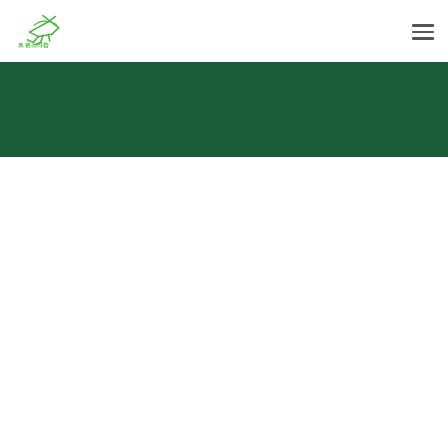트윈스타팜 logo and navigation header
[Figure (logo): 트윈스타팜 green geometric logo with Korean text '트윈스타팜' and Latin subtitle 'TWINSTARFARM']
[Figure (illustration): Dark green banner/hero section background bar spanning full width]